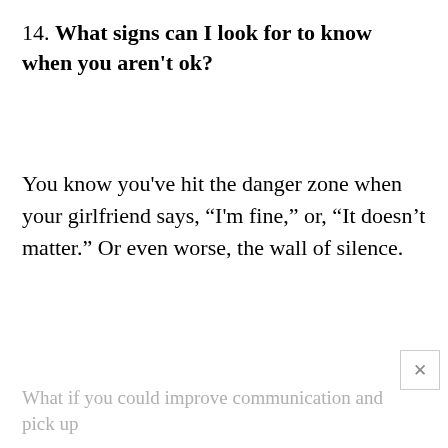14. What signs can I look for to know when you aren't ok?
You know you've hit the danger zone when your girlfriend says, “I'm fine,” or, “It doesn’t matter.” Or even worse, the wall of silence.
What if you could improve communication and pick up